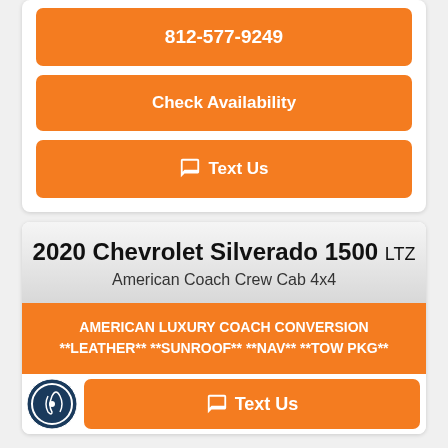812-577-9249
Check Availability
Text Us
2020 Chevrolet Silverado 1500 LTZ
American Coach Crew Cab 4x4
AMERICAN LUXURY COACH CONVERSION **LEATHER** **SUNROOF** **NAV** **TOW PKG**
Text Us